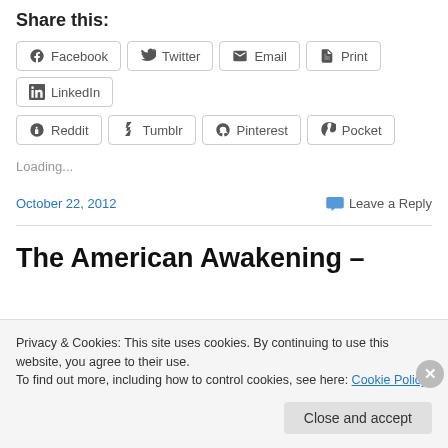Share this:
Facebook  Twitter  Email  Print  LinkedIn  Reddit  Tumblr  Pinterest  Pocket
Loading...
October 22, 2012    Leave a Reply
The American Awakening –
Privacy & Cookies: This site uses cookies. By continuing to use this website, you agree to their use.
To find out more, including how to control cookies, see here: Cookie Policy